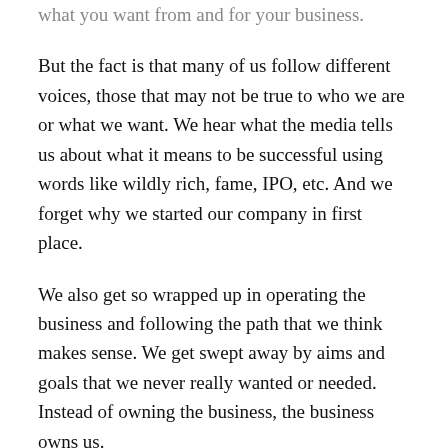what you want from and for your business.
But the fact is that many of us follow different voices, those that may not be true to who we are or what we want. We hear what the media tells us about what it means to be successful using words like wildly rich, fame, IPO, etc. And we forget why we started our company in first place.
We also get so wrapped up in operating the business and following the path that we think makes sense. We get swept away by aims and goals that we never really wanted or needed. Instead of owning the business, the business owns us.
We need to break free from all of those external ideas and expectations that we think others may have for us or the voices and names we hear about in the media–Bezos, Musk, etc. And we need to point our thoughts inward. I'm